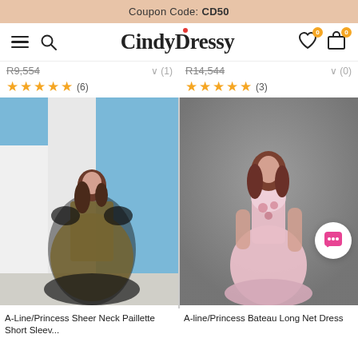Coupon Code: CD50
[Figure (screenshot): CindyDressy website navigation bar with hamburger menu, search icon, logo, wishlist and cart icons]
R9,554  ∨ (1)  ★★★★★ (6)
R14,544  ∨ (0)  ★★★★★ (3)
[Figure (photo): Model wearing A-Line/Princess Sheer Neck Paillette Short Sleeves Long Net Dress in black/gold]
[Figure (photo): Model wearing A-line/Princess Bateau Long Net Dress in pink]
A-Line/Princess Sheer Neck Paillette Short Sleev...
A-line/Princess Bateau Long Net Dress